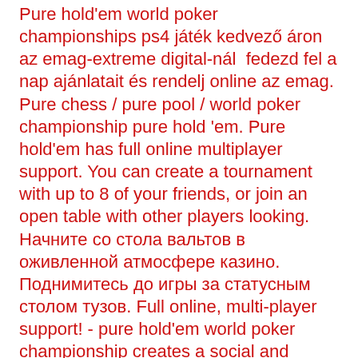Pure hold'em world poker championships ps4 játék kedvező áron az emag-extreme digital-nál  fedezd fel a nap ajánlatait és rendelj online az emag. Pure chess / pure pool / world poker championship pure hold 'em. Pure hold'em has full online multiplayer support. You can create a tournament with up to 8 of your friends, or join an open table with other players looking. Начните со стола вальтов в оживленной атмосфере казино. Поднимитесь до игры за статусным столом тузов. Full online, multi-player support! - pure hold'em world poker championship creates a social and connected poker experience; multiple enviroments! Toda la información sobre el videojuego pure hold'em world poker championship para ps4. Lanzamiento, últimas noticias, análisis, imágenes, gameplays y mucho
Our pick of top casino online reviews and